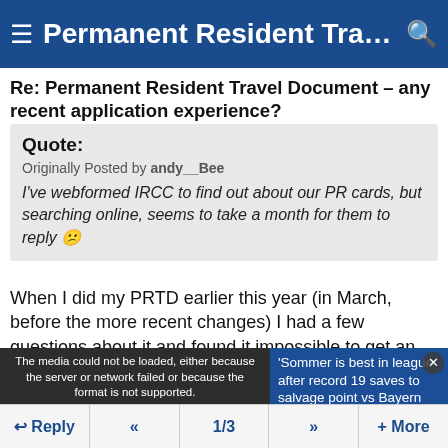Permanent Resident Travel Doc...
Re: Permanent Resident Travel Document – any recent application experience?
Quote: Originally Posted by andy__Bee
I've webformed IRCC to find out about our PR cards, but searching online, seems to take a month for them to reply 😕
When I did my PRTD earlier this year (in March, before the more recent changes) I had a few questions about it and found it impossible to get an answer from VFS, either by
[Figure (screenshot): Embedded media player showing error message: 'The media could not be loaded, either because the server or network failed or because the format is not supported.' with a soccer/football related news item sidebar about 'Sommer is best in league after record 19 saves to salvage point vs Bayern']
Reply  «  1/3  »  + More